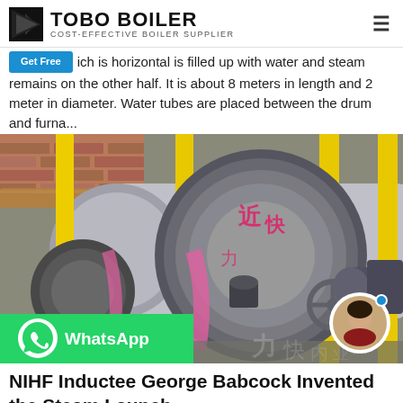TOBO BOILER — COST-EFFECTIVE BOILER SUPPLIER
ich is horizontal is filled up with water and steam remains on the other half. It is about 8 meters in length and 2 meter in diameter. Water tubes are placed between the drum and furna…
[Figure (photo): Industrial boiler equipment in a factory setting showing large cylindrical boilers with yellow pipes and flanges, Chinese text markings visible on the boiler faces. A WhatsApp contact button overlay is in the bottom-left corner and a female customer service avatar in the bottom-right.]
NIHF Inductee George Babcock Invented the Steam Launch